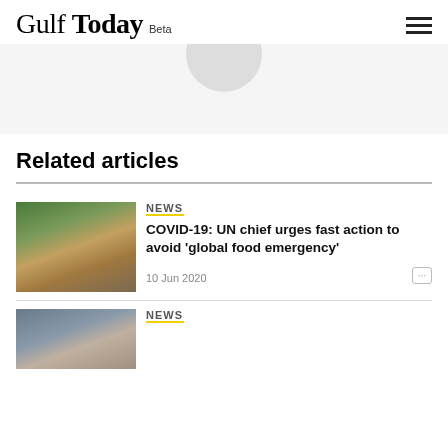Gulf Today Beta
[Figure (photo): Partial circular image placeholder at top of page]
Related articles
[Figure (photo): Photo of children eating food, related to COVID-19 food emergency article]
NEWS
COVID-19: UN chief urges fast action to avoid 'global food emergency'
10 Jun 2020
[Figure (photo): Photo of woman with child, second related article thumbnail]
NEWS